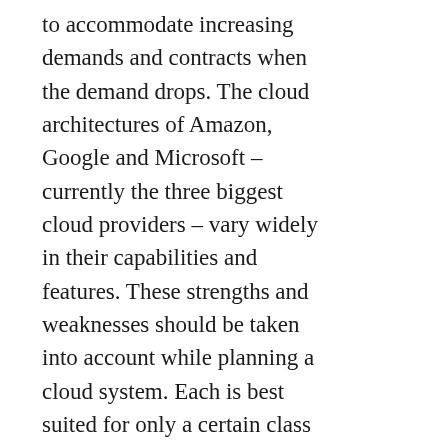to accommodate increasing demands and contracts when the demand drops. The cloud architectures of Amazon, Google and Microsoft – currently the three biggest cloud providers – vary widely in their capabilities and features. These strengths and weaknesses should be taken into account while planning a cloud system. Each is best suited for only a certain class of applications unique to each individual cloud provider. On one end of the spectrum Amazon's EC2 (Elastic Compute Cloud) provides a virtual machine and a wealth of associated tools for storage and notifications. But the trade-off for increased flexibility is that users must take